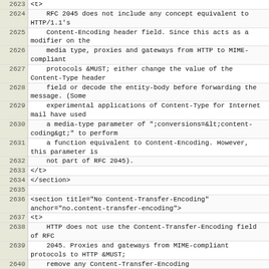| line | code |
| --- | --- |
| 2623 | <t> |
| 2624 |     RFC 2045 does not include any concept equivalent to HTTP/1.1's |
| 2625 |     Content-Encoding header field. Since this acts as a modifier on the |
| 2626 |     media type, proxies and gateways from HTTP to MIME-compliant |
| 2627 |     protocols &MUST; either change the value of the Content-Type header |
| 2628 |     field or decode the entity-body before forwarding the message. (Some |
| 2629 |     experimental applications of Content-Type for Internet mail have used |
| 2630 |     a media-type parameter of ";conversions=&lt;content-coding&gt;" to perform |
| 2631 |     a function equivalent to Content-Encoding. However, this parameter is |
| 2632 |     not part of RFC 2045). |
| 2633 | </t> |
| 2634 | </section> |
| 2635 |  |
| 2636 | <section title="No Content-Transfer-Encoding" anchor="no.content-transfer-encoding"> |
| 2637 | <t> |
| 2638 |     HTTP does not use the Content-Transfer-Encoding field of RFC |
| 2639 |     2045. Proxies and gateways from MIME-compliant protocols to HTTP &MUST; |
| 2640 |     remove any Content-Transfer-Encoding |
| 2641 |     prior to delivering the response message to an HTTP client. |
| 2642 | </t> |
| 2643 | <t> |
| 2644 |     Proxies and gateways from HTTP to MIME-compliant protocols are |